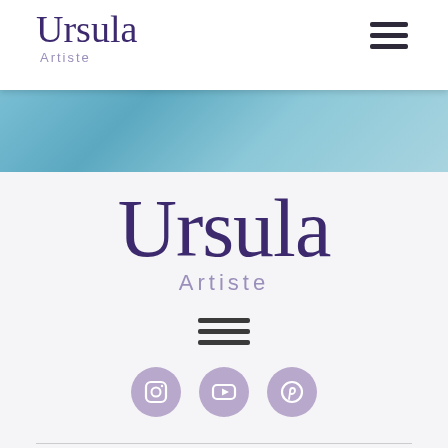[Figure (logo): Ursula Artiste logo in header bar with hamburger menu icon on right]
[Figure (photo): Blue teal textured banner strip]
[Figure (logo): Large Ursula Artiste logo centered on white/light gray background]
[Figure (infographic): Hamburger menu icon (three horizontal bars) centered below logo]
[Figure (infographic): Three social media icons: Instagram, YouTube, Pinterest in purple circles]
[Figure (other): Horizontal divider line at bottom of page]